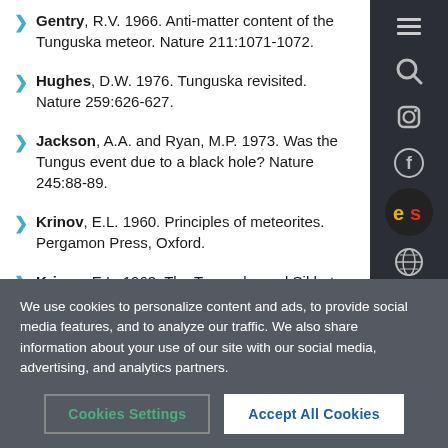Gentry, R.V. 1966. Anti-matter content of the Tunguska meteor. Nature 211:1071-1072.
Hughes, D.W. 1976. Tunguska revisited. Nature 259:626-627.
Jackson, A.A. and Ryan, M.P. 1973. Was the Tungus event due to a black hole? Nature 245:88-89.
Krinov, E.L. 1960. Principles of meteorites. Pergamon Press, Oxford.
Krinov, E.L. 1963. The Tunguska and Sikhote-Alin
We use cookies to personalize content and ads, to provide social media features, and to analyze our traffic. We also share information about your use of our site with our social media, advertising, and analytics partners.